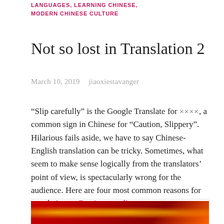LANGUAGES, LEARNING CHINESE, MODERN CHINESE CULTURE
Not so lost in Translation 2
March 10, 2019    jiaoxiestavanger
“Slip carefully” is the Google Translate for ××××, a common sign in Chinese for “Caution, Slippery”. Hilarious fails aside, we have to say Chinese-English translation can be tricky. Sometimes, what seem to make sense logically from the translators’ point of view, is spectacularly wrong for the audience. Here are four most common reasons for translation… Continue reading
[Figure (photo): Red background with golden Chinese decorative characters/symbols]